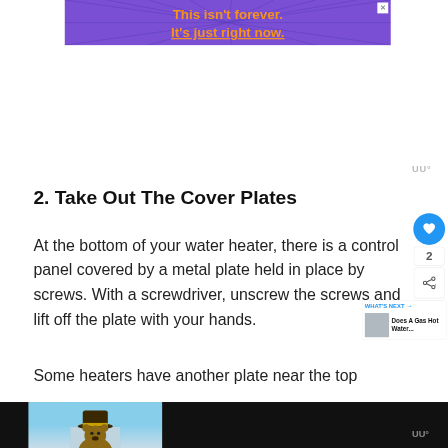[Figure (screenshot): Purple advertisement banner with orange bold text reading "This isn't forever. It's just right now." with radiating lines background and a close (X) button in the top right corner.]
2. Take Out The Cover Plates
At the bottom of your water heater, there is a control panel covered by a metal plate held in place by screws. With a screwdriver, unscrew the screws and lift off the plate with your hands.
Some heaters have another plate near the top
[Figure (screenshot): Bottom strip showing a video/media player area with a Smokey Bear character illustration on a sky-blue background, with a dark background bar and watermark logo on the right.]